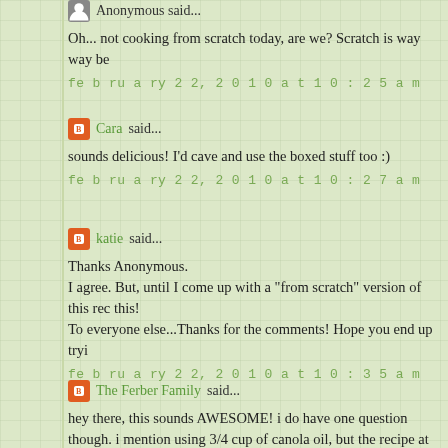Anonymous said...
Oh... not cooking from scratch today, are we? Scratch is way way be
february 22, 2010 at 10:25 am
Cara said...
sounds delicious! I'd cave and use the boxed stuff too :)
february 22, 2010 at 10:27 am
katie said...
Thanks Anonymous.
I agree. But, until I come up with a "from scratch" version of this rec this!
To everyone else...Thanks for the comments! Hope you end up tryi
february 22, 2010 at 10:35 am
The Ferber Family said...
hey there, this sounds AWESOME! i do have one question though. i mention using 3/4 cup of canola oil, but the recipe at the bottom say
february 22, 2010 at 11:53 am